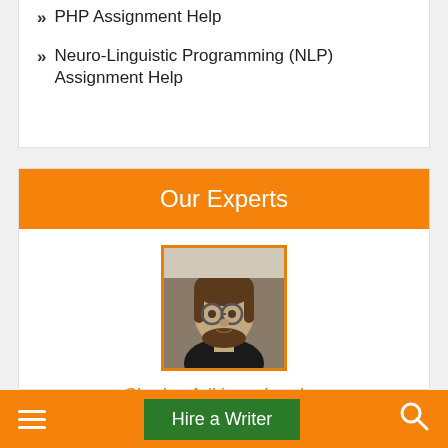PHP Assignment Help
Neuro-Linguistic Programming (NLP) Assignment Help
Our Experts
[Figure (photo): Profile photo of Charles Adkison, London — a man with long hair and glasses wearing a black shirt, shown from shoulders up]
Charles Adkison, London
★★★★½ (4.5 star rating)
LLM in Business Law
1645 - Completed Orders
Hire a Writer